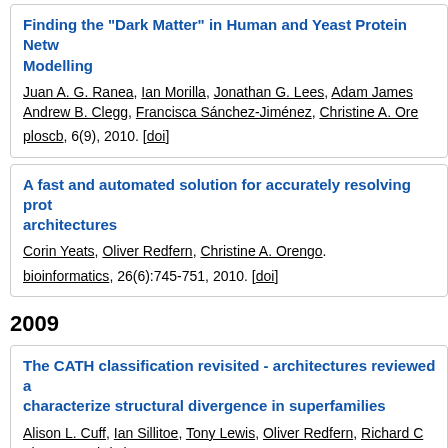Finding the "Dark Matter" in Human and Yeast Protein Networks by Modelling
Juan A. G. Ranea, Ian Morilla, Jonathan G. Lees, Adam James, Andrew B. Clegg, Francisca Sánchez-Jiménez, Christine A. Orengo. ploscb, 6(9), 2010. [doi]
A fast and automated solution for accurately resolving protein domain architectures
Corin Yeats, Oliver Redfern, Christine A. Orengo. bioinformatics, 26(6):745-751, 2010. [doi]
2009
The CATH classification revisited - architectures reviewed and new ways to characterize structural divergence in superfamilies
Alison L. Cuff, Ian Sillitoe, Tony Lewis, Oliver Redfern, Richard C. Thornton, Christine A. Orengo. nar, 37(Database Issue):310-314, 2009. [doi]